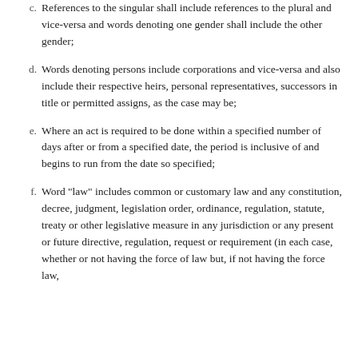c. References to the singular shall include references to the plural and vice-versa and words denoting one gender shall include the other gender;
d. Words denoting persons include corporations and vice-versa and also include their respective heirs, personal representatives, successors in title or permitted assigns, as the case may be;
e. Where an act is required to be done within a specified number of days after or from a specified date, the period is inclusive of and begins to run from the date so specified;
f. Word "law" includes common or customary law and any constitution, decree, judgment, legislation order, ordinance, regulation, statute, treaty or other legislative measure in any jurisdiction or any present or future directive, regulation, request or requirement (in each case, whether or not having the force of law but, if not having the force law,